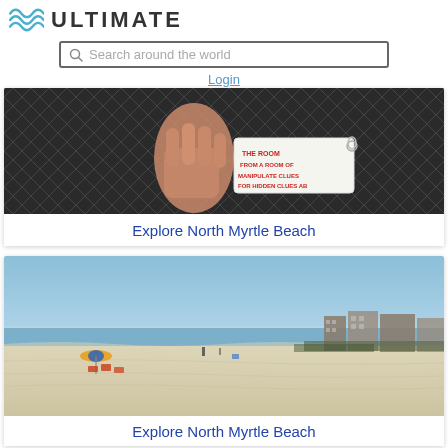[Figure (logo): Ultimate logo with wave icon in teal/blue and bold text 'ULTIMATE' in dark grey]
[Figure (screenshot): Search bar with magnifier icon and placeholder text 'Search around the world']
Login
[Figure (photo): Hand holding a tag/card with text about room escape or puzzle clues, close-up photo with metal mesh background]
Explore North Myrtle Beach
[Figure (photo): Wide sandy beach with clear blue sky, a few beach chairs and umbrellas, and beachfront buildings in the background]
Explore North Myrtle Beach